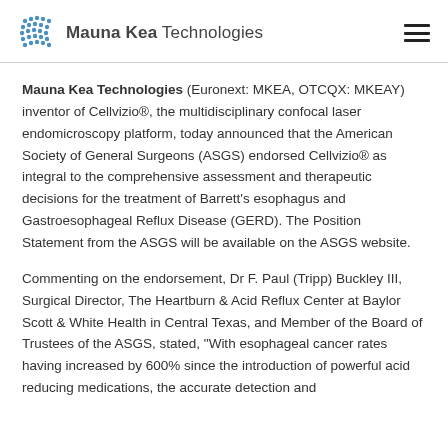Mauna Kea Technologies
Mauna Kea Technologies (Euronext: MKEA, OTCQX: MKEAY) inventor of Cellvizio®, the multidisciplinary confocal laser endomicroscopy platform, today announced that the American Society of General Surgeons (ASGS) endorsed Cellvizio® as integral to the comprehensive assessment and therapeutic decisions for the treatment of Barrett's esophagus and Gastroesophageal Reflux Disease (GERD). The Position Statement from the ASGS will be available on the ASGS website.
Commenting on the endorsement, Dr F. Paul (Tripp) Buckley III, Surgical Director, The Heartburn & Acid Reflux Center at Baylor Scott & White Health in Central Texas, and Member of the Board of Trustees of the ASGS, stated, "With esophageal cancer rates having increased by 600% since the introduction of powerful acid reducing medications, the accurate detection and